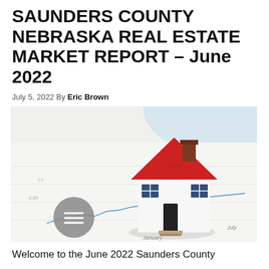SAUNDERS COUNTY NEBRASKA REAL ESTATE MARKET REPORT – June 2022
July 5, 2022 By Eric Brown
[Figure (photo): A red miniature house model placed on top of financial charts and graphs showing market data, with 'January' and 'July' labels visible on the x-axis and a circular icon with lines in the bottom left.]
Welcome to the June 2022 Saunders County